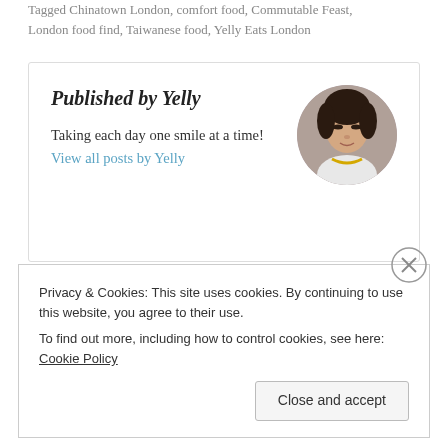Tagged Chinatown London, comfort food, Commutable Feast, London food find, Taiwanese food, Yelly Eats London
Published by Yelly
Taking each day one smile at a time! View all posts by Yelly
[Figure (photo): Circular avatar photo of a woman looking downward, wearing a white top with a yellow necklace.]
PREVIOUS POST
Food tripping in Colchester
Privacy & Cookies: This site uses cookies. By continuing to use this website, you agree to their use.
To find out more, including how to control cookies, see here: Cookie Policy
Close and accept